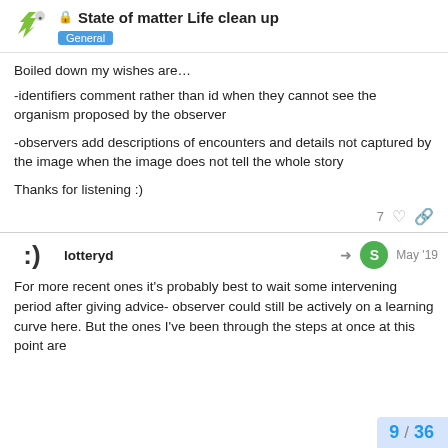State of matter Life clean up — General
Boiled down my wishes are…
-identifiers comment rather than id when they cannot see the organism proposed by the observer

-observers add descriptions of encounters and details not captured by the image when the image does not tell the whole story

Thanks for listening :)
lotteryd — May '19
For more recent ones it's probably best to wait some intervening period after giving advice- observer could still be actively on a learning curve here. But the ones I've been through the steps at once at this point are